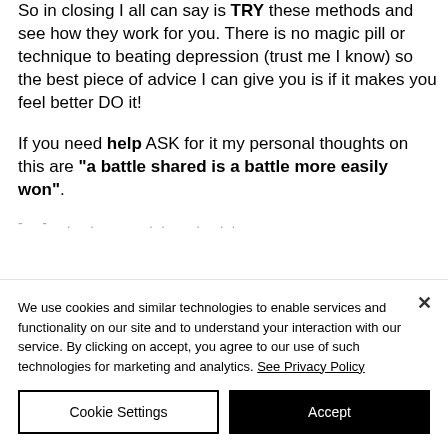So in closing I all can say is TRY these methods and see how they work for you. There is no magic pill or technique to beating depression (trust me I know) so the best piece of advice I can give you is if it makes you feel better DO it!
If you need help ASK for it my personal thoughts on this are "a battle shared is a battle more easily won".
- - . . . .. . .
We use cookies and similar technologies to enable services and functionality on our site and to understand your interaction with our service. By clicking on accept, you agree to our use of such technologies for marketing and analytics. See Privacy Policy
Cookie Settings
Accept